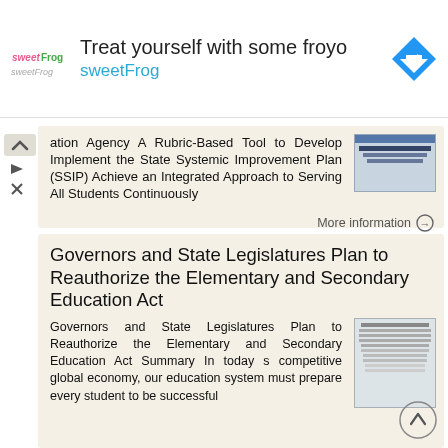[Figure (infographic): sweetFrog frozen yogurt advertisement banner with logo, text 'Treat yourself with some froyo sweetFrog', and navigation icon]
ation Agency A Rubric-Based Tool to Develop Implement the State Systemic Improvement Plan (SSIP) Achieve an Integrated Approach to Serving All Students Continuously
More information →
Governors and State Legislatures Plan to Reauthorize the Elementary and Secondary Education Act
Governors and State Legislatures Plan to Reauthorize the Elementary and Secondary Education Act Summary In today s competitive global economy, our education system must prepare every student to be successful